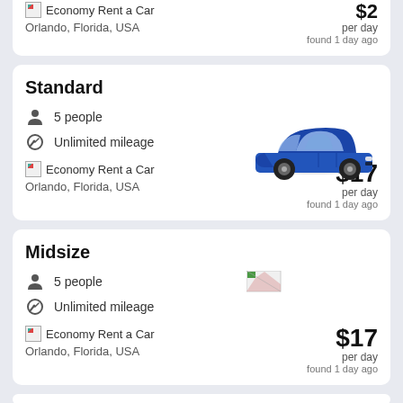Economy Rent a Car — Orlando, Florida, USA — per day — found 1 day ago (partial top card)
Standard
5 people
Unlimited mileage
[Figure (photo): Blue Nissan Sentra sedan car photo for Standard category]
Economy Rent a Car — Orlando, Florida, USA — $17 per day — found 1 day ago
Midsize
5 people
Unlimited mileage
[Figure (photo): Broken/loading car image for Midsize category]
Economy Rent a Car — Orlando, Florida, USA — $17 per day — found 1 day ago